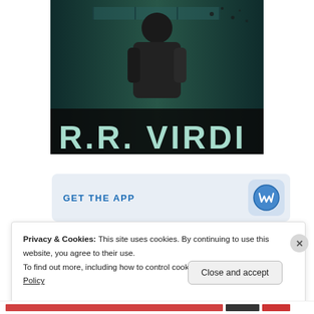[Figure (photo): Book cover for R.R. Virdi — dark thriller cover image showing a figure in a hallway with the author name 'R.R. VIRDI' in large white letters at the bottom]
GET THE APP
Privacy & Cookies: This site uses cookies. By continuing to use this website, you agree to their use.
To find out more, including how to control cookies, see here: Cookie Policy
Close and accept